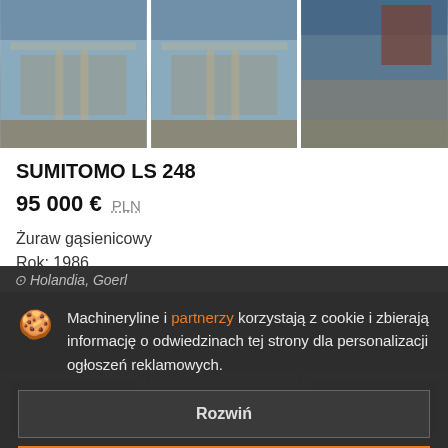[Figure (photo): Three photos of a Sumitomo LS 248 crawler crane at a port/industrial facility, showing the crane and tracks]
SUMITOMO LS 248
95 000 € PLN
Żuraw gąsienicowy
Rok: 1986
Holandia, Goerl
Machineryline i partnerzy korzystają z cookie i zbierają informację o odwiedzinach tej strony dla personalizacji ogłoszeń reklamowych.
Rozwiń
Zgoda i zamknąć
[Figure (photo): Partially visible thumbnail images of cranes at bottom of page, partially obscured by cookie overlay]